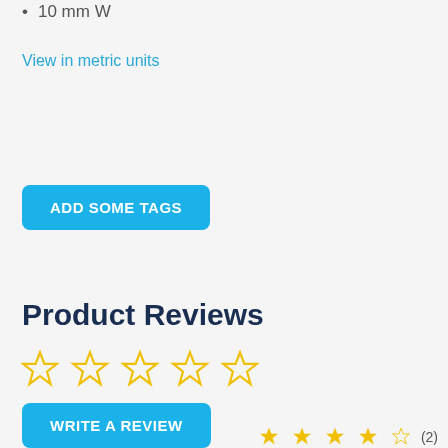10 mm W
View in metric units
ADD SOME TAGS
Product Reviews
[Figure (other): Five empty star rating icons in yellow outline]
WRITE A REVIEW
[Figure (other): Partial star rating icons at bottom of page with review count]